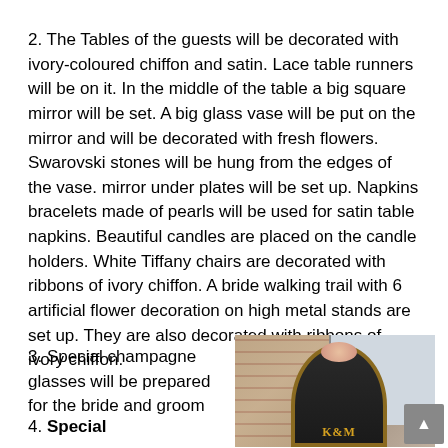2. The Tables of the guests will be decorated with ivory-coloured chiffon and satin. Lace table runners will be on it. In the middle of the table a big square mirror will be set. A big glass vase will be put on the mirror and will be decorated with fresh flowers. Swarovski stones will be hung from the edges of the vase. mirror under plates will be set up. Napkins bracelets made of pearls will be used for satin table napkins. Beautiful candles are placed on the candle holders. White Tiffany chairs are decorated with ribbons of ivory chiffon. A bride walking trail with 6 artificial flower decoration on high metal stands are set up. They are also decorated with ribbons of ivory chiffon.
3. Special champagne glasses will be prepared for the bride and groom
[Figure (photo): A decorative arch or throne decorated with flowers and gold trim, displaying the letters K&M, set against a brick wall background.]
4. Special